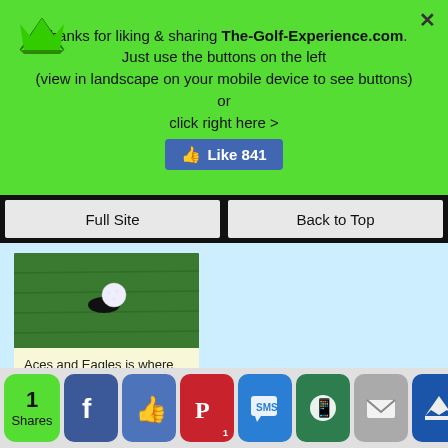Thanks for liking & sharing The-Golf-Experience.com. Just use the buttons on the left (view in landscape on your mobile device to see buttons) OR click right here >
[Figure (screenshot): Facebook Like button showing 841 likes]
Full Site
Back to Top
[Figure (photo): Golf ball near hole on green grass]
Aces and Eagles is where you get to post your Hole in One and Eagles so everyone can see what you've accomplished - Kudos!!
Read More
[Figure (screenshot): Social sharing bar with 1 Share count and icons for Facebook, Like, Pinterest, SMS, WhatsApp, Mail, Crown]